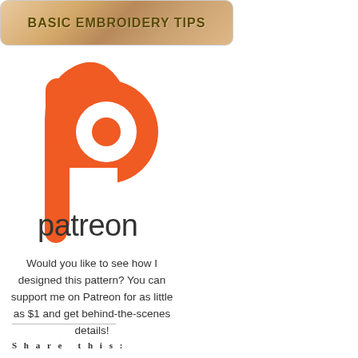[Figure (illustration): Banner image with warm tan/brown gradient background and bold text reading BASIC EMBROIDERY TIPS]
[Figure (logo): Patreon logo: orange stylized P icon above lowercase 'patreon' wordmark in dark charcoal]
Would you like to see how I designed this pattern? You can support me on Patreon for as little as $1 and get behind-the-scenes details!
Share this: